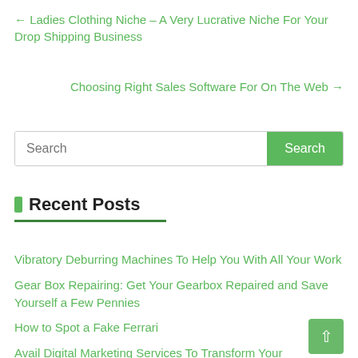← Ladies Clothing Niche – A Very Lucrative Niche For Your Drop Shipping Business
Choosing Right Sales Software For On The Web →
[Figure (screenshot): Search bar with green Search button]
Recent Posts
Vibratory Deburring Machines To Help You With All Your Work
Gear Box Repairing: Get Your Gearbox Repaired and Save Yourself a Few Pennies
How to Spot a Fake Ferrari
Avail Digital Marketing Services To Transform Your